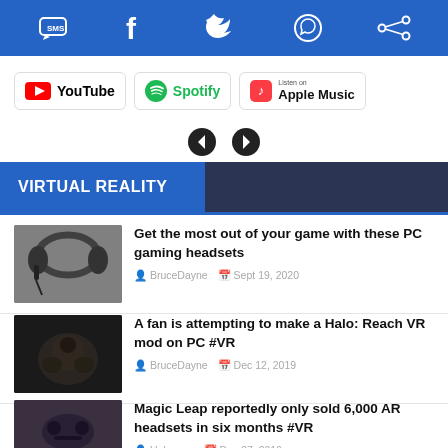Social share bar: SMS, Facebook, Twitter, WhatsApp, share icons
[Figure (logo): YouTube badge]
[Figure (logo): Spotify badge]
[Figure (logo): Listen on Apple Music badge]
[Figure (infographic): Left and right navigation arrow icons]
VIRTUAL REALITY
[Figure (photo): PC gaming headset product photo]
Get the most out of your game with these PC gaming headsets
BruceDayne  Sept 19, 2020
[Figure (photo): Halo: Reach VR mod screenshot]
A fan is attempting to make a Halo: Reach VR mod on PC #VR
BruceDayne  Dec 12, 2019
[Figure (photo): Magic Leap AR headset photo]
Magic Leap reportedly only sold 6,000 AR headsets in six months #VR
Unknown  Dec 07, 2019